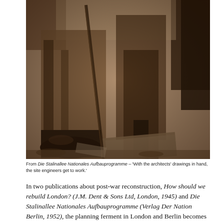[Figure (photo): A sepia-toned black and white photograph showing the lower bodies and feet of people at a construction or engineering site. One figure in the foreground wears heavy boots and work trousers. Construction materials such as stones or slabs are visible on the ground. The image appears to depict site engineers or workers at work.]
From Die Stalinallee Nationales Aufbauprogramme – 'With the architects' drawings in hand, the site engineers get to work.'
In two publications about post-war reconstruction, How should we rebuild London? (J.M. Dent & Sons Ltd, London, 1945) and Die Stalinallee Nationales Aufbauprogramme (Verlag Der Nation Berlin, 1952), the planning ferment in London and Berlin becomes a